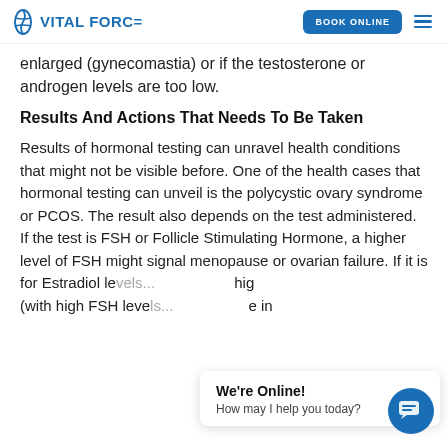VITAL FORCE — BOOK ONLINE
enlarged (gynecomastia) or if the testosterone or androgen levels are too low.
Results And Actions That Needs To Be Taken
Results of hormonal testing can unravel health conditions that might not be visible before. One of the health cases that hormonal testing can unveil is the polycystic ovary syndrome or PCOS. The result also depends on the test administered. If the test is FSH or Follicle Stimulating Hormone, a higher level of FSH might signal menopause or ovarian failure. If it is for Estradiol le... hig... (with high FSH leve... e in...